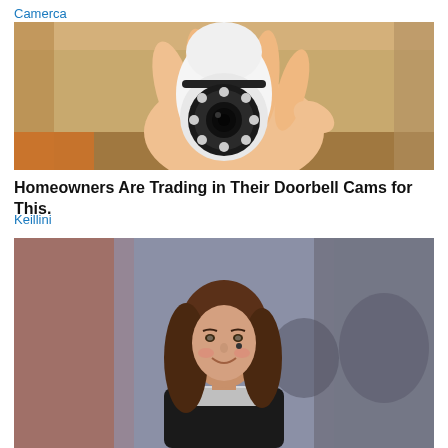Camerca
[Figure (photo): A hand holding a small white PTZ security camera with LED ring around the lens, shown against a wooden shelf background.]
Homeowners Are Trading in Their Doorbell Cams for This.
Keillini
[Figure (photo): A smiling woman with long brown hair wearing a black outfit, standing in a blurred indoor environment with colorful background.]